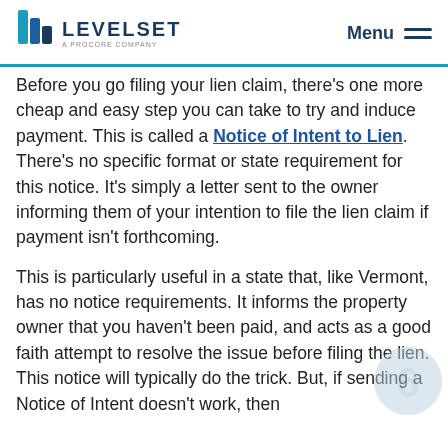LEVELSET — A PROCORE COMPANY | Menu
Before you go filing your lien claim, there's one more cheap and easy step you can take to try and induce payment. This is called a Notice of Intent to Lien. There's no specific format or state requirement for this notice. It's simply a letter sent to the owner informing them of your intention to file the lien claim if payment isn't forthcoming.
This is particularly useful in a state that, like Vermont, has no notice requirements. It informs the property owner that you haven't been paid, and acts as a good faith attempt to resolve the issue before filing the lien. This notice will typically do the trick. But, if sending a Notice of Intent doesn't work, then